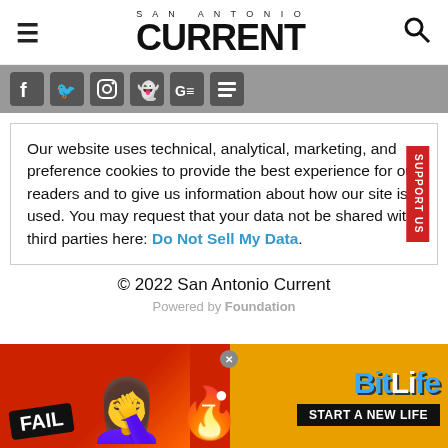SAN ANTONIO CURRENT
[Figure (screenshot): Social media icons bar showing Facebook, Twitter, Instagram, Snapchat, Google News, and another platform icon on a grey background]
Our website uses technical, analytical, marketing, and preference cookies to provide the best experience for our readers and to give us information about how our site is used. You may request that your data not be shared with third parties here: Do Not Sell My Data.
© 2022 San Antonio Current
Powered by Foundation
[Figure (screenshot): Advertisement banner for BitLife game showing FAIL text, facepalm emoji, flame emoji and 'START A NEW LIFE' text on orange/red background]